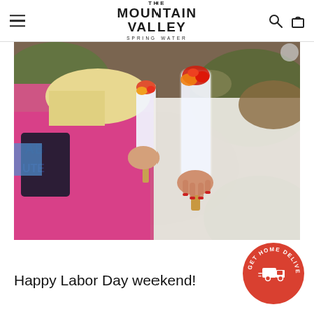THE MOUNTAIN VALLEY SPRING WATER
[Figure (photo): Two children holding homemade popsicles/ice pops outdoors, one child wearing a pink shirt, popsicles appear to have fruit/candy toppings, outdoor nature background]
[Figure (infographic): Circular red badge with text GET HOME DELIVERY and delivery truck icon]
Happy Labor Day weekend!